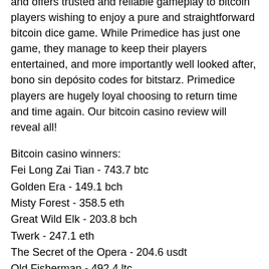and offers trusted and reliable gameplay to bitcoin players wishing to enjoy a pure and straightforward bitcoin dice game. While Primedice has just one game, they manage to keep their players entertained, and more importantly well looked after, bono sin depósito codes for bitstarz. Primedice players are hugely loyal choosing to return time and time again. Our bitcoin casino review will reveal all!
Bitcoin casino winners:
Fei Long Zai Tian - 743.7 btc
Golden Era - 149.1 bch
Misty Forest - 358.5 eth
Great Wild Elk - 203.8 bch
Twerk - 247.1 eth
The Secret of the Opera - 204.6 usdt
Old Fisherman - 492.4 ltc
Magic Owl - 723.8 usdt
Super Hot - 603 bch